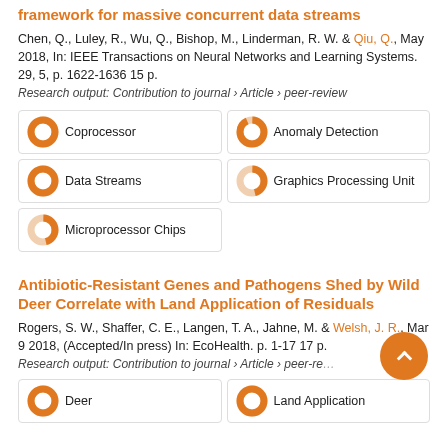framework for massive concurrent data streams
Chen, Q., Luley, R., Wu, Q., Bishop, M., Linderman, R. W. & Qiu, Q., May 2018, In: IEEE Transactions on Neural Networks and Learning Systems. 29, 5, p. 1622-1636 15 p.
Research output: Contribution to journal › Article › peer-review
[Figure (infographic): Research keyword badges with donut chart icons: Coprocessor (100%), Anomaly Detection (93%), Data Streams (100%), Graphics Processing Unit (46%), Microprocessor Chips (46%)]
Antibiotic-Resistant Genes and Pathogens Shed by Wild Deer Correlate with Land Application of Residuals
Rogers, S. W., Shaffer, C. E., Langen, T. A., Jahne, M. & Welsh, J. R., Mar 9 2018, (Accepted/In press) In: EcoHealth. p. 1-17 17 p.
Research output: Contribution to journal › Article › peer-review
[Figure (infographic): Research keyword badges with donut chart icons: Deer (100%), Land Application (100%)]